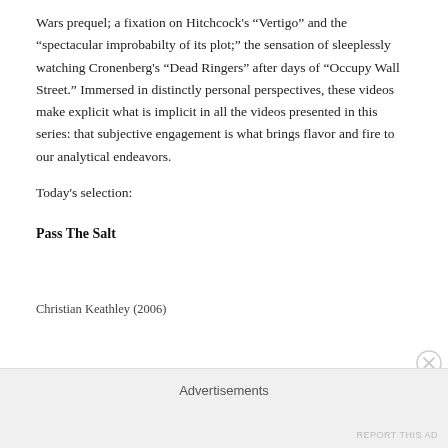Wars prequel; a fixation on Hitchcock's "Vertigo" and the "spectacular improbabilty of its plot;" the sensation of sleeplessly watching Cronenberg's "Dead Ringers" after days of "Occupy Wall Street." Immersed in distinctly personal perspectives, these videos make explicit what is implicit in all the videos presented in this series: that subjective engagement is what brings flavor and fire to our analytical endeavors.
Today's selection:
Pass The Salt
Christian Keathley (2006)
Advertisements